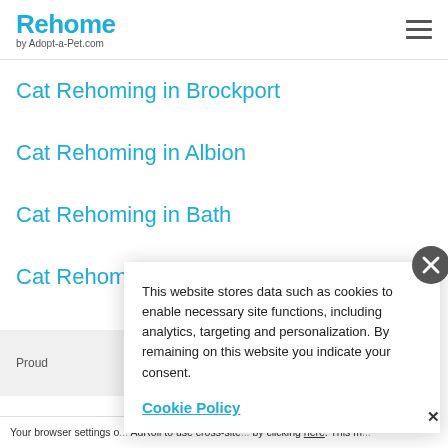Rehome by Adopt-a-Pet.com
Cat Rehoming in Brockport
Cat Rehoming in Albion
Cat Rehoming in Bath
Cat Rehoming in Alfred
Proud
This website stores data such as cookies to enable necessary site functions, including analytics, targeting and personalization. By remaining on this website you indicate your consent.
Cookie Policy
Your browser settings o... AdRoll to use cross-site... by clicking here. This m...